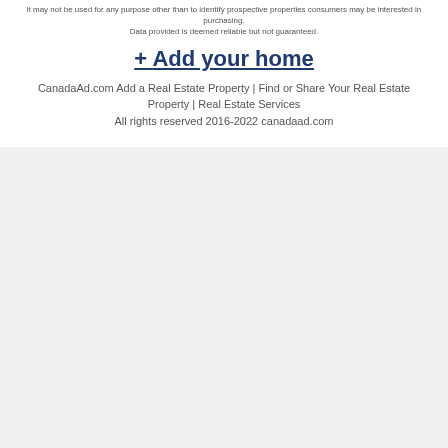it may not be used for any purpose other than to identify prospective properties consumers may be interested in purchasing. Data provided is deemed reliable but not guaranteed.
+ Add your home
CanadaAd.com Add a Real Estate Property | Find or Share Your Real Estate Property | Real Estate Services
All rights reserved 2016-2022 canadaad.com